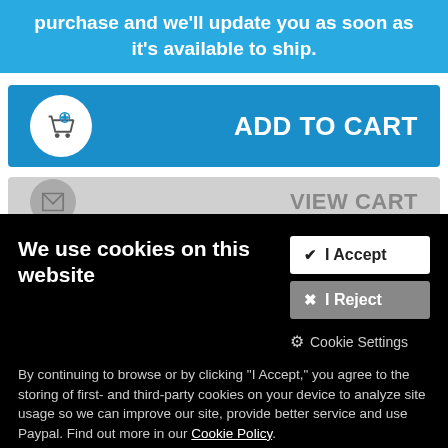purchase and we'll update you as soon as it's available to ship.
[Figure (screenshot): Add to Cart button with shopping cart icon on blue background]
[Figure (screenshot): View Cart button partially visible on grey background]
We use cookies on this website
By continuing to browse or by clicking "I Accept," you agree to the storing of first- and third-party cookies on your device to analyze site usage so we can improve our site, provide better service and use Paypal. Find out more in our Cookie Policy.